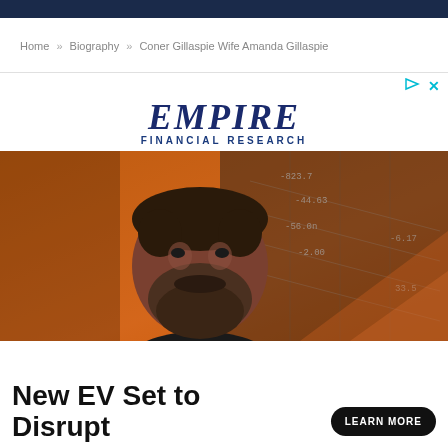Home » Biography » Coner Gillaspie Wife Amanda Gillaspie
[Figure (advertisement): Empire Financial Research advertisement with logo and bearded man against orange financial chart background]
New EV Set to Disrupt
LEARN MORE